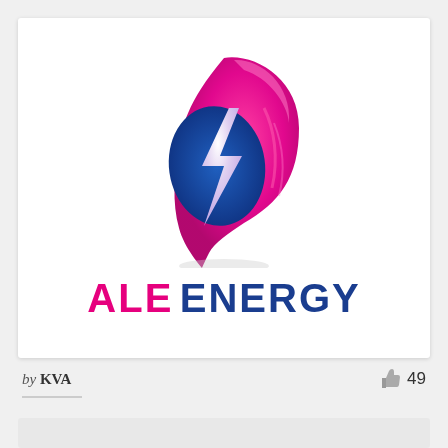[Figure (logo): ALE Energy logo: a flame/wing shape in pink/magenta with a blue lightning bolt inside, above the text ALE ENERGY in pink and blue bold sans-serif letters]
by KVA
49